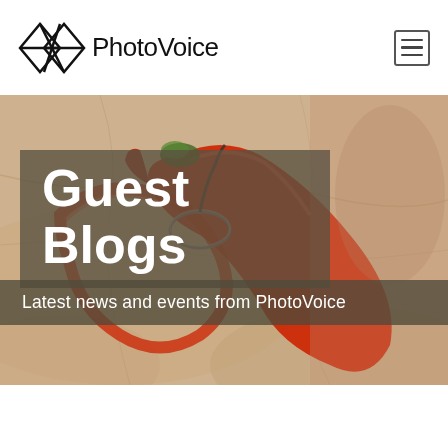[Figure (logo): PhotoVoice logo: geometric camera-like icon made of diamond/triangle shapes in black outline, followed by text 'PhotoVoice' in dark sans-serif]
[Figure (photo): Background hero photo of red chili peppers and a ring on a marble/stone surface, warm orangey-red tones]
Guest Blogs
Latest news and events from PhotoVoice